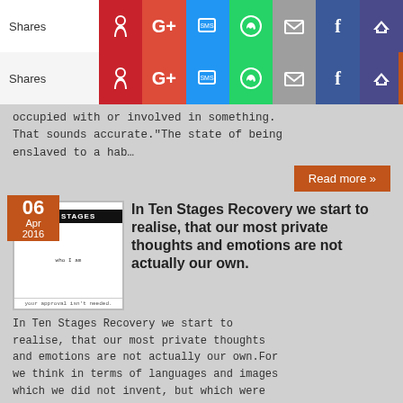[Figure (screenshot): Social share bar row 1 with Pinterest, G+, SMS, WhatsApp, Email, Facebook, King icons]
[Figure (screenshot): Social share bar row 2 with Pinterest, G+, SMS, WhatsApp, Email, Facebook, King icons]
occupied with or involved in something. That sounds accurate.“The state of being enslaved to a hab…
Read more »
[Figure (illustration): Article thumbnail: TEN STAGES book cover with date badge 06 Apr 2016]
In Ten Stages Recovery we start to realise, that our most private thoughts and emotions are not actually our own.
In Ten Stages Recovery we start to realise, that our most private thoughts and emotions are not actually our own.For we think in terms of languages and images which we did not invent, but which were
Read more »